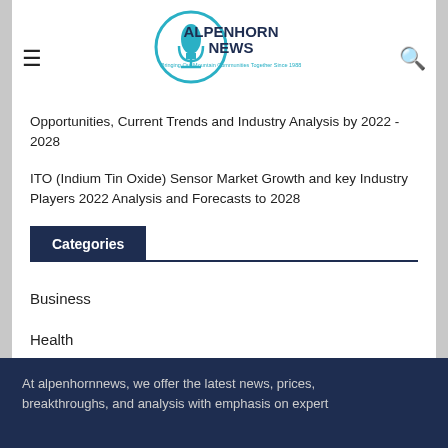ALPENHORNNEWS — Bringing Our Mountain Communities Together Since 1988
Opportunities, Current Trends and Industry Analysis by 2022 - 2028
ITO (Indium Tin Oxide) Sensor Market Growth and key Industry Players 2022 Analysis and Forecasts to 2028
Categories
Business
Health
Science
Technology
World
At alpenhornnews, we offer the latest news, prices, breakthroughs, and analysis with emphasis on expert